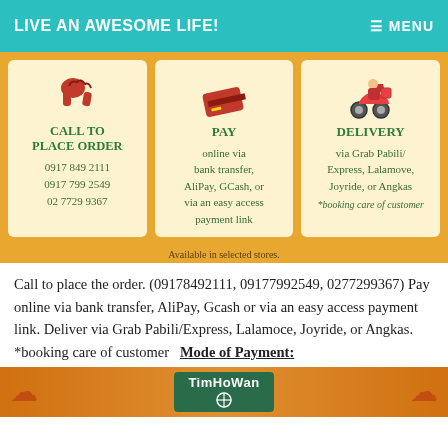LIVE AN AWESOME LIFE!   ☰ MENU
[Figure (infographic): Three-panel infographic with cards: CALL TO PLACE ORDER (0917 849 2111, 0917 799 2549, 02 7729 9367), PAY (online via bank transfer, AliPay, GCash, or via an easy access payment link), DELIVERY (via Grab Pabili/Express, Lalamove, Joyride, or Angkas. *booking care of customer). Footer: Available in selected stores.]
Call to place the order. (09178492111, 09177992549, 0277299367) Pay online via bank transfer, AliPay, Gcash or via an easy access payment link. Deliver via Grab Pabili/Express, Lalamoce, Joyride, or Angkas. *booking care of customer   Mode of Payment:
[Figure (logo): TimHoWan logo on decorative orange background with red cloud motifs]